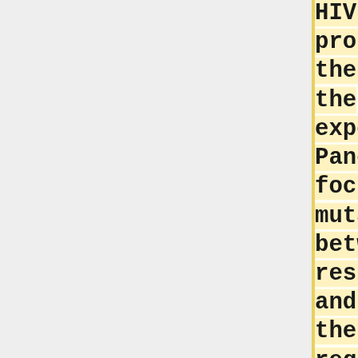HIV spike protein over the time of the experiment. Panel B focuses on mutations between residues 160 and 172 of the V1V2 region. Doria-Rose et al identified those residues to be vital to viral adaptations that gave